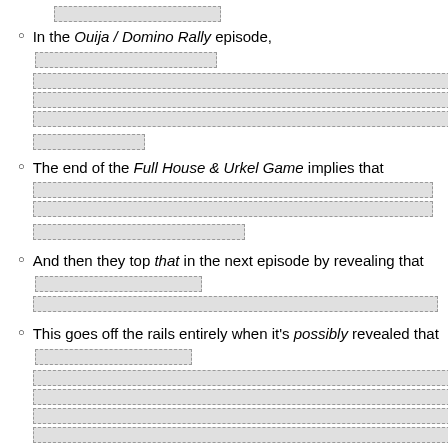[redacted]
In the Ouija / Domino Rally episode, [redacted]
The end of the Full House & Urkel Game implies that [redacted]
And then they top that in the next episode by revealing that [redacted]
This goes off the rails entirely when it's possibly revealed that [redacted]
Wham Line: